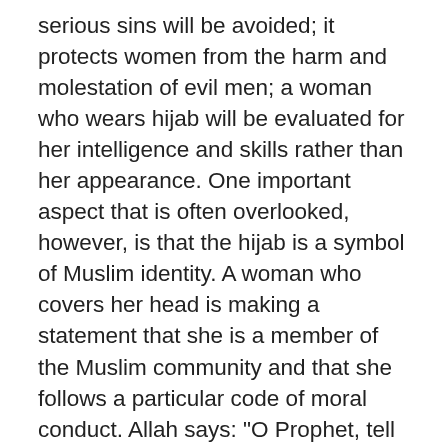serious sins will be avoided; it protects women from the harm and molestation of evil men; a woman who wears hijab will be evaluated for her intelligence and skills rather than her appearance. One important aspect that is often overlooked, however, is that the hijab is a symbol of Muslim identity. A woman who covers her head is making a statement that she is a member of the Muslim community and that she follows a particular code of moral conduct. Allah says: "O Prophet, tell your wives and daughters and the believing women to draw their outer garments around them. That is more suitable that they will be known (as Muslims and chaste believing women) and not be abused." [Qur'an, 33:59] "...that they will be known..." In America, where Islam is the fastest growing religion (albumdullilah), many people are coming to